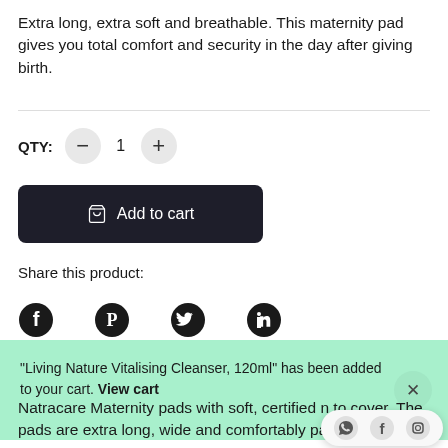Extra long, extra soft and breathable. This maternity pad gives you total comfort and security in the day after giving birth.
QTY: 1
Add to cart
Share this product:
[Figure (infographic): Social sharing icons: Facebook, Pinterest, Twitter, LinkedIn]
"Living Nature Vitalising Cleanser, 120ml" has been added to your cart. View cart
Natracare Maternity pads with soft, certified n to cover. The pads are extra long, wide and comfortably padded to give you full absorbent protection for the most bl...